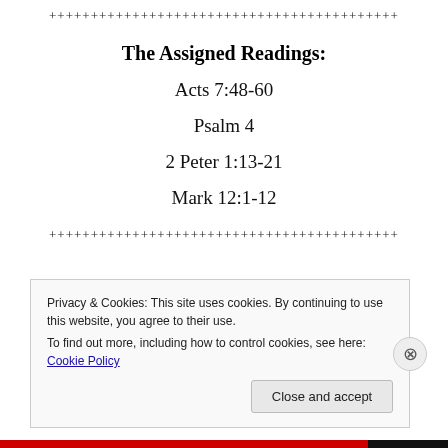+++++++++++++++++++++++++++++++++++++++++
The Assigned Readings:
Acts 7:48-60
Psalm 4
2 Peter 1:13-21
Mark 12:1-12
+++++++++++++++++++++++++++++++++++++++++
Privacy & Cookies: This site uses cookies. By continuing to use this website, you agree to their use.
To find out more, including how to control cookies, see here: Cookie Policy